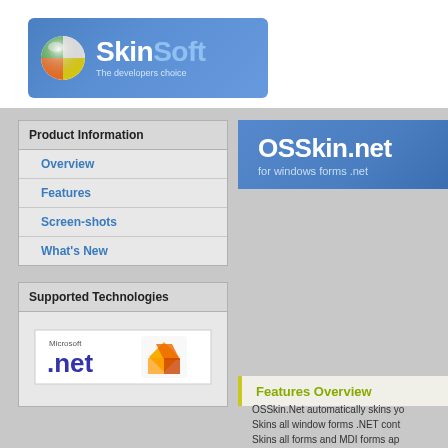[Figure (logo): SkinSoft logo banner with sphere icon and tagline 'The developers choice']
Product Information
Overview
Features
Screen-shots
What's New
Supported Technologies
[Figure (logo): Microsoft .net and Visual Studio logo]
[Figure (logo): OSSkin.net for windows forms .net banner]
Features Overview
OSSkin.Net automatically skins yo... Skins all window forms .NET cont... Skins all forms and MDI forms ap... Skins all of the native custome...